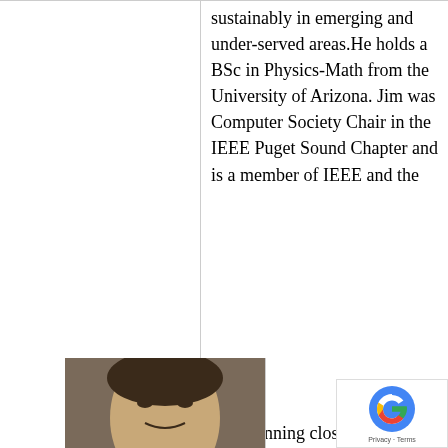sustainably in emerging and under-served areas. He holds a BSc in Physics-Math from the University of Arizona. Jim was Computer Society Chair in the IEEE Puget Sound Chapter and is a member of IEEE and the
IEEE websites place cookies on your device to give you the best user experience. By using our websites, you agree to the placement of these cookies. To learn more, read our Privacy Policy.
Accept & Close
spanning close to three
[Figure (photo): Partial photo of a person's face visible at bottom left of page]